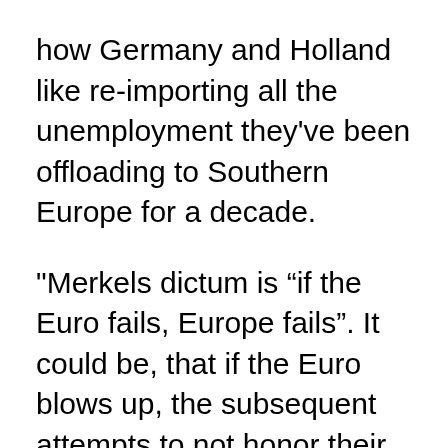how Germany and Holland like re-importing all the unemployment they've been offloading to Southern Europe for a decade.
"Merkels dictum is “if the Euro fails, Europe fails". It could be, that if the Euro blows up, the subsequent attempts to not honor their debt could blow up the whole European Union."
You mean "the brinkmanship of creditors to odious debts." The simple truth is that the Greek, Spanish and Irish debts are a backlog of German (and Dutch, and Austrian, and Finnish)